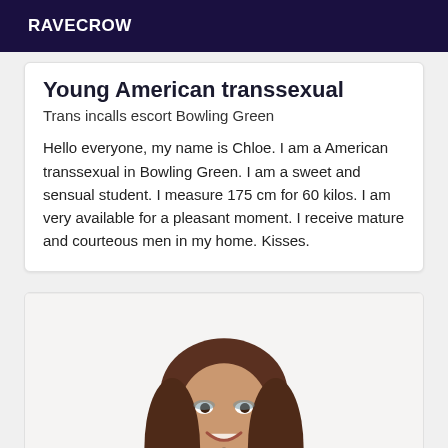RAVECROW
Young American transsexual
Trans incalls escort Bowling Green
Hello everyone, my name is Chloe. I am a American transsexual in Bowling Green. I am a sweet and sensual student. I measure 175 cm for 60 kilos. I am very available for a pleasant moment. I receive mature and courteous men in my home. Kisses.
[Figure (photo): Portrait photo of a person with long brown hair, smiling, wearing a dark jacket, against a light background.]